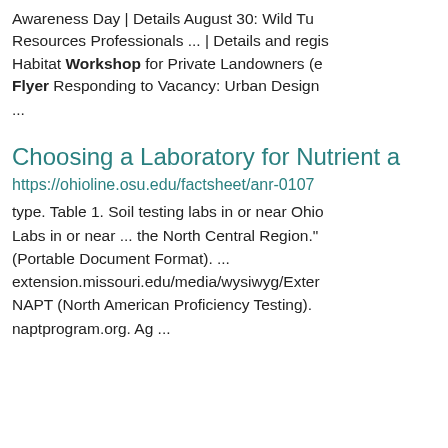Awareness Day | Details August 30: Wild Tu Resources Professionals ... | Details and regis Habitat Workshop for Private Landowners (e Flyer Responding to Vacancy: Urban Design ...
Choosing a Laboratory for Nutrient a
https://ohioline.osu.edu/factsheet/anr-0107
type. Table 1. Soil testing labs in or near Ohio Labs in or near ... the North Central Region." (Portable Document Format). ... extension.missouri.edu/media/wysiwyg/Exter NAPT (North American Proficiency Testing). naptprogram.org. Ag ...